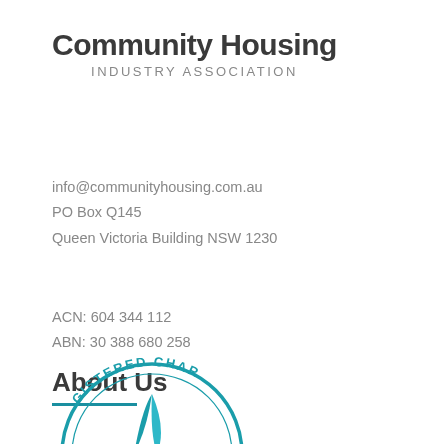Community Housing
INDUSTRY ASSOCIATION
info@communityhousing.com.au
PO Box Q145
Queen Victoria Building NSW 1230
ACN: 604 344 112
ABN: 30 388 680 258
About Us
[Figure (logo): Registered Charity seal/stamp — partial circle with text 'REGISTERED CHARITY' and a stylized bird/sail logo in teal]